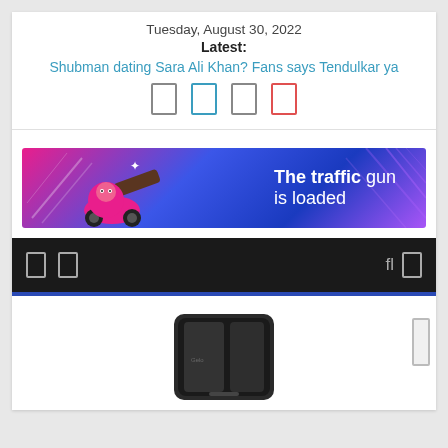Tuesday, August 30, 2022
Latest:
Shubman dating Sara Ali Khan? Fans says Tendulkar ya
[Figure (other): Social media sharing icons row: four icon boxes (dark, blue, dark, red)]
[Figure (infographic): Advertisement banner: blue/pink gradient background with cartoon cannon and text 'The traffic gun is loaded']
[Figure (screenshot): Dark navigation bar with icon symbols on left and right sides]
[Figure (photo): Partial view of a smartphone (black/dark) shown from below in a white content area with a scroll bar on right]